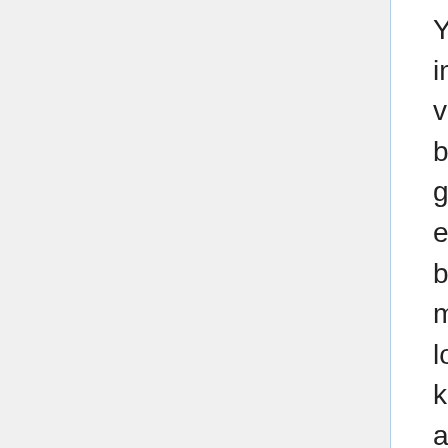You'll read on this site and other blogs about the importance of using “active” or methylated versions of folate. So what’s the difference between taking folic acid and methylfolate. We get folate from foods, and folic acid from enriched foods and supplements, while some brands of supplements provide an active methylfolate form. The term “folic acid” is used loosely, and when reading articles or research, know that the term can mean folic acid, folinic acid or methylfolate, which are all very different forms along the pathway to an activated form of folate.
Dietary folates are absorbed in the proximal jejunum and enter the enterohepatic (gut-liver) circulation bound to albumin. Because serum folate levels reflect very recent dietary...